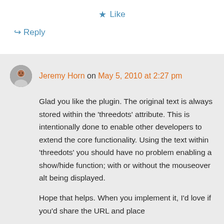★ Like
↪ Reply
Jeremy Horn on May 5, 2010 at 2:27 pm
Glad you like the plugin. The original text is always stored within the 'threedots' attribute. This is intentionally done to enable other developers to extend the core functionality. Using the text within 'threedots' you should have no problem enabling a show/hide function; with or without the mouseover alt being displayed.
Hope that helps. When you implement it, I'd love if you'd share the URL and place